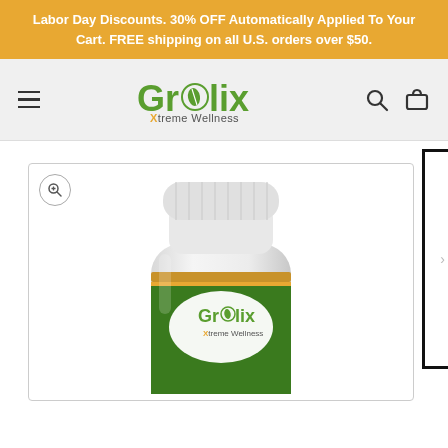Labor Day Discounts. 30% OFF Automatically Applied To Your Cart. FREE shipping on all U.S. orders over $50.
[Figure (logo): Grelix Xtreme Wellness logo — green text with orange leaf icon in the 'e', and orange 'X' in 'Xtreme Wellness' tagline below]
[Figure (photo): A white supplement bottle with a green label reading 'Grelix Xtreme Wellness' with an orange leaf icon. The bottle has a white ribbed cap and gold/green band near the label top.]